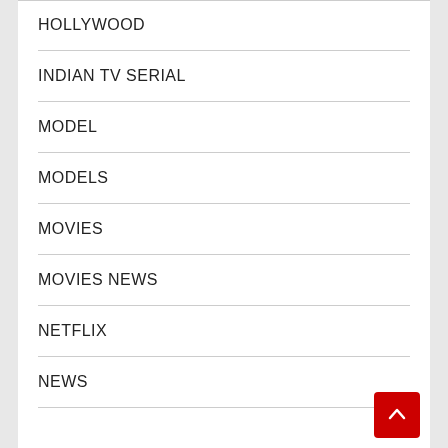HOLLYWOOD
INDIAN TV SERIAL
MODEL
MODELS
MOVIES
MOVIES NEWS
NETFLIX
NEWS